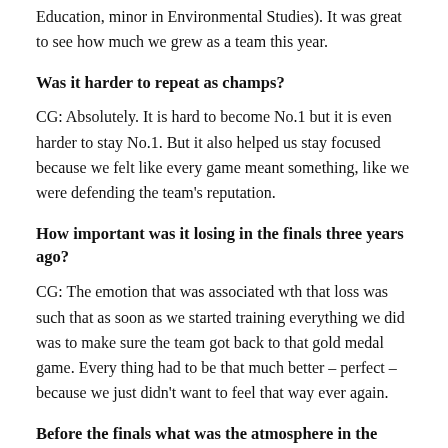Education, minor in Environmental Studies). It was great to see how much we grew as a team this year.
Was it harder to repeat as champs?
CG: Absolutely. It is hard to become No.1 but it is even harder to stay No.1. But it also helped us stay focused because we felt like every game meant something, like we were defending the team's reputation.
How important was it losing in the finals three years ago?
CG: The emotion that was associated wth that loss was such that as soon as we started training everything we did was to make sure the team got back to that gold medal game. Every thing had to be that much better – perfect – because we just didn't want to feel that way ever again.
Before the finals what was the atmosphere in the locker room?
CG: Our team had an overwhelming sense of calm. We knew what we had to do.